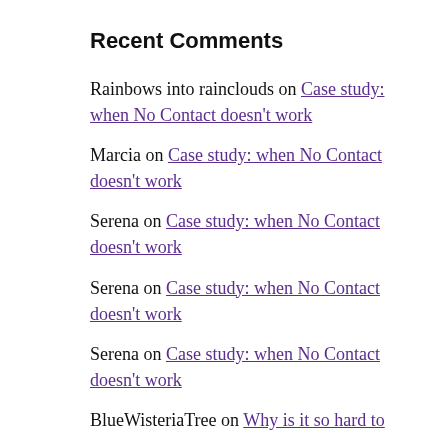Recent Comments
Rainbows into rainclouds on Case study: when No Contact doesn't work
Marcia on Case study: when No Contact doesn't work
Serena on Case study: when No Contact doesn't work
Serena on Case study: when No Contact doesn't work
Serena on Case study: when No Contact doesn't work
BlueWisteriaTree on Why is it so hard to